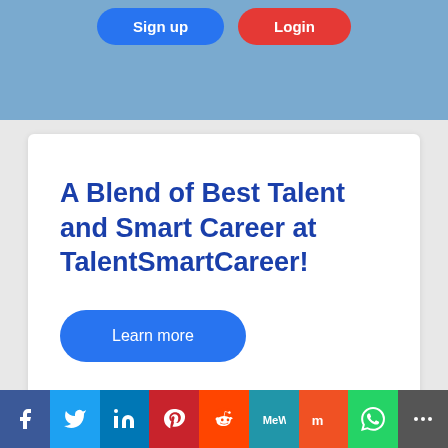[Figure (screenshot): Top blue banner area with two rounded buttons (blue and red) partially visible at top]
A Blend of Best Talent and Smart Career at TalentSmartCareer!
[Figure (screenshot): Learn more button, blue rounded rectangle]
[Figure (infographic): Social media share bar with icons: Facebook, Twitter, LinkedIn, Pinterest, Reddit, MeWe, Mix, WhatsApp, More]